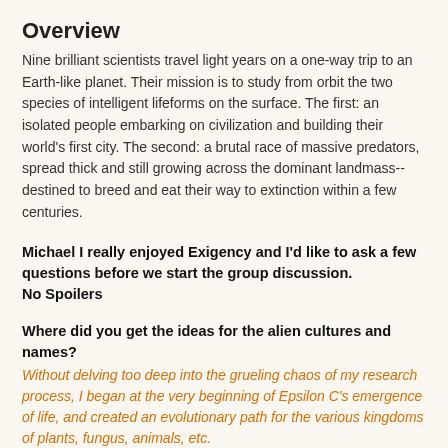Overview
Nine brilliant scientists travel light years on a one-way trip to an Earth-like planet. Their mission is to study from orbit the two species of intelligent lifeforms on the surface. The first: an isolated people embarking on civilization and building their world's first city. The second: a brutal race of massive predators, spread thick and still growing across the dominant landmass--destined to breed and eat their way to extinction within a few centuries.
Michael I really enjoyed Exigency and I'd like to ask a few questions before we start the group discussion.
No Spoilers
Where did you get the ideas for the alien cultures and names?
Without delving too deep into the grueling chaos of my research process, I began at the very beginning of Epsilon C's emergence of life, and created an evolutionary path for the various kingdoms of plants, fungus, animals, etc.